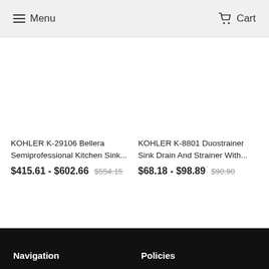Menu   Cart
KOHLER K-29106 Bellera Semiprofessional Kitchen Sink...
$415.61 - $602.66  $554.15
KOHLER K-8801 Duostrainer Sink Drain And Strainer With...
$68.18 - $98.89  $90.90
Navigation   Policies